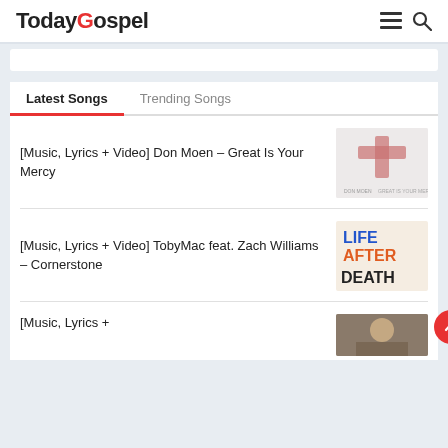TodayGospel
[Music, Lyrics + Video] Don Moen – Great Is Your Mercy
[Figure (photo): Album cover thumbnail showing a red cross on a light background with 'DON MOEN' text at the bottom]
[Music, Lyrics + Video] TobyMac feat. Zach Williams – Cornerstone
[Figure (photo): Album cover for 'Life After Death' by TobyMac featuring colorful letters spelling LIFE AFTER DEATH]
[Music, Lyrics +
[Figure (photo): Partial album cover thumbnail showing a person's face]